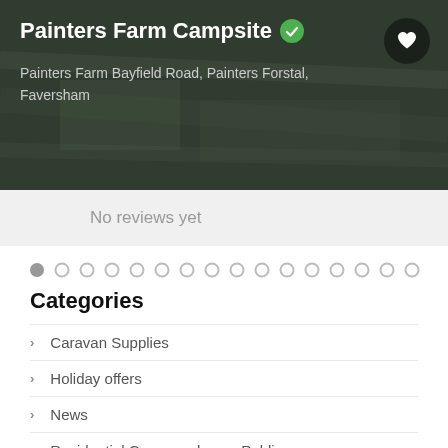Painters Farm Campsite
Painters Farm Bayfield Road, Painters Forstal, Faversham
No reviews yet
[Figure (other): Pagination dots row with 16 circles, first one filled/active]
Categories
Caravan Supplies
Holiday offers
News
Residential Caravan show – Public
Search For Campsite and Parks